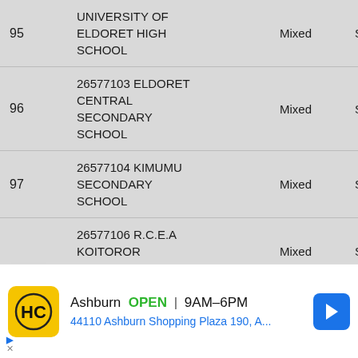| # | School Name | Gender | Category |
| --- | --- | --- | --- |
| 95 | UNIVERSITY OF ELDORET HIGH SCHOOL | Mixed | Sub County |
| 96 | 26577103 ELDORET CENTRAL SECONDARY SCHOOL | Mixed | Sub County |
| 97 | 26577104 KIMUMU SECONDARY SCHOOL | Mixed | Sub County |
|  | 26577106 R.C.E.A KOITOROR SECONDARY | Mixed | Sub County |
[Figure (screenshot): Advertisement banner: HC logo (yellow/black), Ashburn OPEN 9AM-6PM, 44110 Ashburn Shopping Plaza 190, A..., navigation arrow icon]